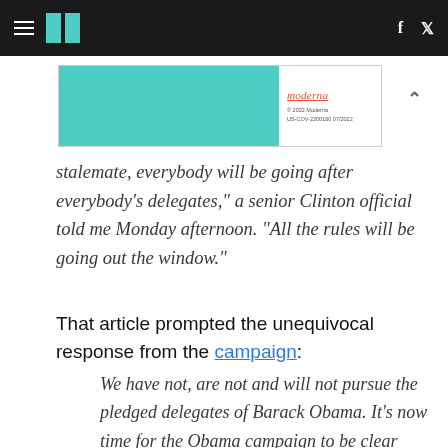HuffPost navigation with hamburger menu, logo, facebook and twitter icons
[Figure (other): Moderna advertisement banner with teal/cyan background on left and Moderna logo with fine print on right]
stalemate, everybody will be going after everybody's delegates," a senior Clinton official told me Monday afternoon. "All the rules will be going out the window."
That article prompted the unequivocal response from the campaign:
We have not, are not and will not pursue the pledged delegates of Barack Obama. It's now time for the Obama campaign to be clear about their intentions.